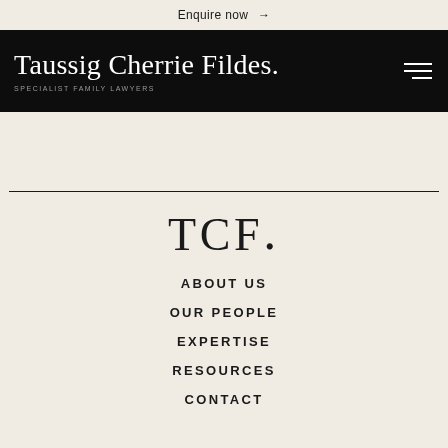Enquire now →
Taussig Cherrie Fildes.
SPECIALIST FAMILY LAWYERS
[Figure (other): Hamburger menu icon with three horizontal lines]
[Figure (logo): TCF. monogram logo in serif font]
ABOUT US
OUR PEOPLE
EXPERTISE
RESOURCES
CONTACT